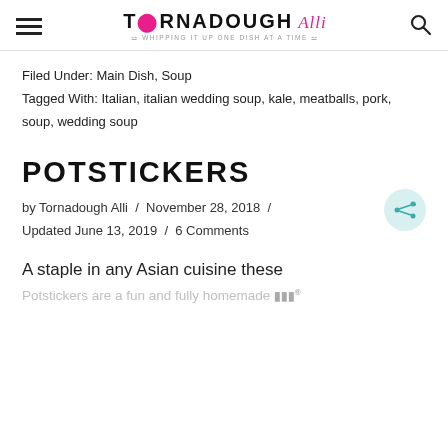TORNADOUGH Alli — Whipping it up one dish at a time
Filed Under: Main Dish, Soup
Tagged With: Italian, italian wedding soup, kale, meatballs, pork, soup, wedding soup
POTSTICKERS
by Tornadough Alli / November 28, 2018 / Updated June 13, 2019 / 6 Comments
A staple in any Asian cuisine these
Potstickers are a fun and fully homemade